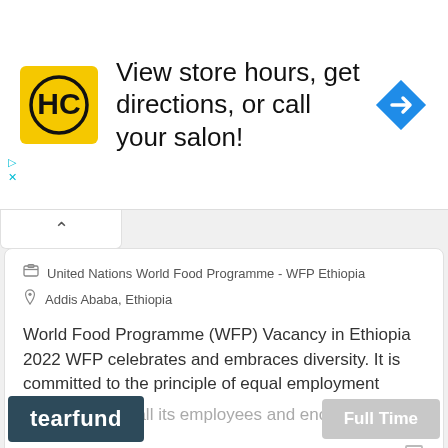[Figure (screenshot): Advertisement banner showing HC salon logo in yellow square, text 'View store hours, get directions, or call your salon!' and a blue diamond navigation arrow icon on the right]
United Nations World Food Programme - WFP Ethiopia
Addis Ababa, Ethiopia
World Food Programme (WFP) Vacancy in Ethiopia 2022 WFP celebrates and embraces diversity. It is committed to the principle of equal employment opportunity for all its employees and encourages
Aug 20, 2022
[Figure (logo): Tearfund logo - white text on dark teal/navy background]
Full Time